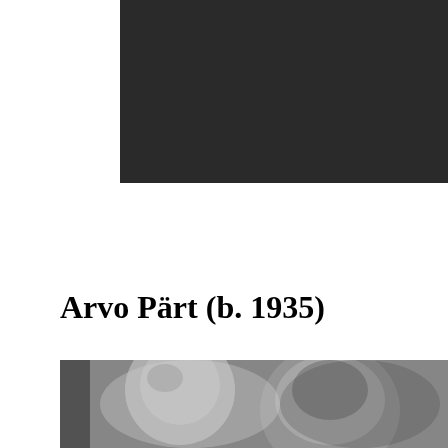[Figure (screenshot): Dark video player thumbnail with a YouTube play button icon in the bottom-right corner]
Arvo Pärt (b. 1935)
[Figure (photo): Black and white photograph showing two people, a smiling woman on the left and an older bald man on the right]